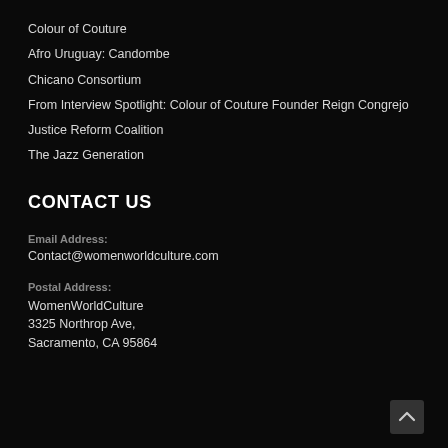Colour of Couture
Afro Uruguay: Candombe
Chicano Consortium
From Interview Spotlight: Colour of Couture Founder Reign Congrejo
Justice Reform Coalition
The Jazz Generation
CONTACT US
Email Address:
Contact@womenworldculture.com
Postal Address:
WomenWorldCulture
3325 Northrop Ave,
Sacramento, CA 95864